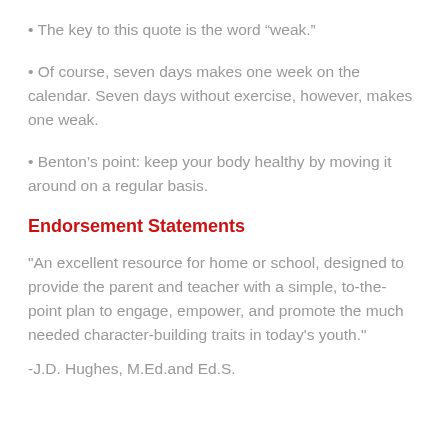• The key to this quote is the word “weak.”
• Of course, seven days makes one week on the calendar. Seven days without exercise, however, makes one weak.
• Benton’s point: keep your body healthy by moving it around on a regular basis.
Endorsement Statements
"An excellent resource for home or school, designed to provide the parent and teacher with a simple, to-the-point plan to engage, empower, and promote the much needed character-building traits in today's youth."
-J.D. Hughes, M.Ed.and Ed.S.